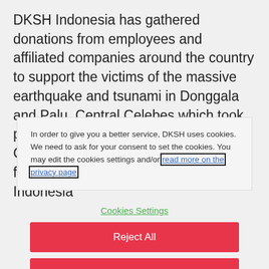DKSH Indonesia has gathered donations from employees and affiliated companies around the country to support the victims of the massive earthquake and tsunami in Donggala and Palu, Central Celebes which took place in September. Stefan P. Butz, CEO, commented, “Our thoughts and feelings are with all the people in Indonesia
In order to give you a better service, DKSH uses cookies. We need to ask for your consent to set the cookies. You may edit the cookies settings and/or read more on the privacy page
Cookies Settings
Reject All
Allow All